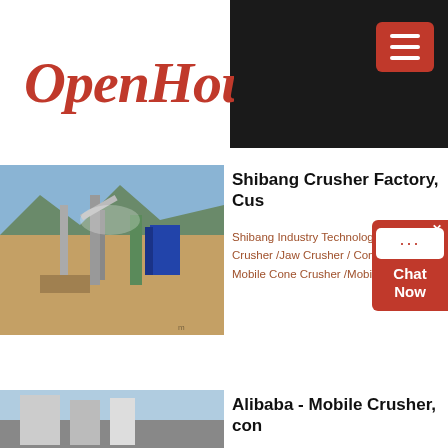[Figure (logo): OpenHouse logo in red cursive script]
[Figure (screenshot): Dark navigation bar with hamburger menu button]
[Figure (infographic): Red Chat Now widget on right side]
[Figure (photo): Shibang crusher factory outdoor industrial photo with machinery and mountains]
Shibang Crusher Factory, Cus
Shibang Industry Technology Group Co Crusher /Jaw Crusher / Cone Crusher , Mobile Cone Crusher /Mobile Impact C
[Figure (photo): Alibaba mobile crusher building photo]
Alibaba - Mobile Crusher, con